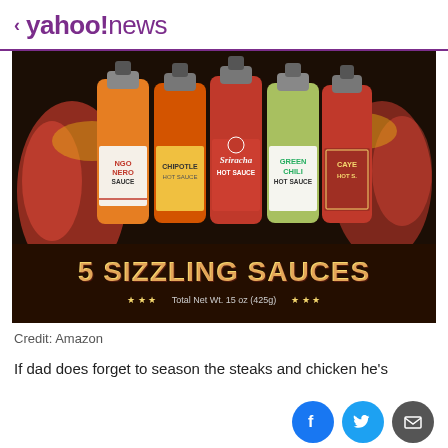< yahoo!news
[Figure (photo): A set of 5 hot sauce bottles in a gift box packaging. The box reads '5 Sizzling Sauces Total Net Wt. 15 oz (425g)'. Sauces include Mango Nero Sauce, Chipotle Hot Sauce, Sriracha Hot Sauce, Green Chili Hot Sauce, and Cayenne Hot Sauce. Decorative lizard artwork on a dark background.]
Credit: Amazon
If dad does forget to season the steaks and chicken he's